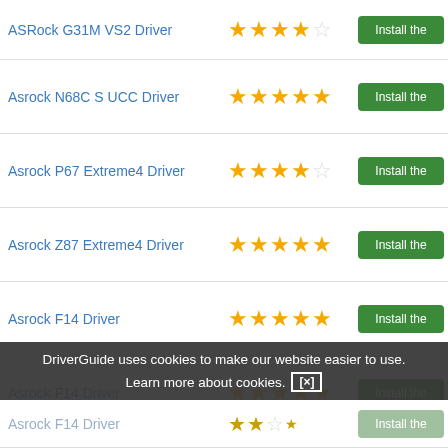ASRock G31M VS2 Driver — 4.5 stars — Install the
Asrock N68C S UCC Driver — 5 stars — Install the
Asrock P67 Extreme4 Driver — 4.5 stars — Install the
Asrock Z87 Extreme4 Driver — 5 stars — Install the
Asrock F14 Driver — 5 stars — Install the
Asrock F14 Driver — 5 stars — Install the
Asrock F14 Driver — 5 stars — Install the
Asrock F14 Driver — 4 stars — Install the
Asrock F14 Driver — 1.5 stars — Install the
DriverGuide uses cookies to make our website easier to use. Learn more about cookies. [×]